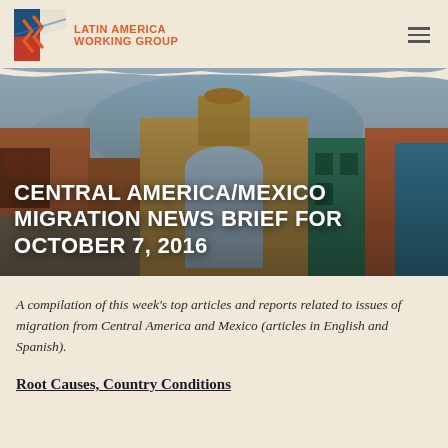[Figure (logo): Latin America Working Group logo with colorful zigzag icon and orange text]
[Figure (photo): Colorful street scene in Central America/Mexico with arch in background, hero banner image]
CENTRAL AMERICA/MEXICO MIGRATION NEWS BRIEF FOR OCTOBER 7, 2016
A compilation of this week's top articles and reports related to issues of migration from Central America and Mexico (articles in English and Spanish).
Root Causes, Country Conditions